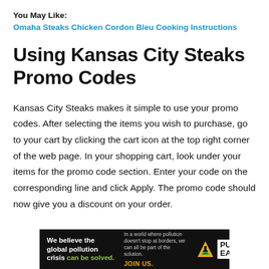You May Like:
Omaha Steaks Chicken Cordon Bleu Cooking Instructions
Using Kansas City Steaks Promo Codes
Kansas City Steaks makes it simple to use your promo codes. After selecting the items you wish to purchase, go to your cart by clicking the cart icon at the top right corner of the web page. In your shopping cart, look under your items for the promo code section. Enter your code on the corresponding line and click Apply. The promo code should now give you a discount on your order.
[Figure (infographic): Pure Earth advertisement banner: black background with white bold text 'We believe the global pollution crisis can be solved.' (with 'can be solved.' in green), small text 'In a world where pollution doesn't stop at borders, we can all be part of the solution.' and 'JOIN US.' in orange/yellow, and the Pure Earth logo with a diamond/triangle icon on the right.]